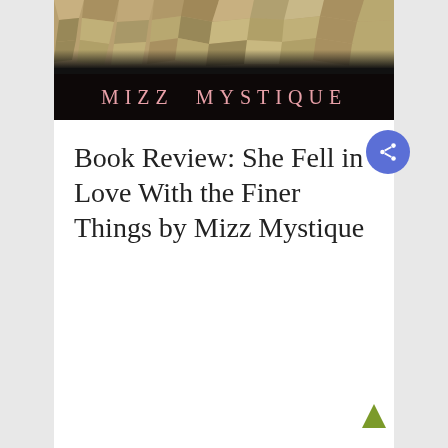[Figure (photo): Book cover image for 'Mizz Mystique' — dark background with textured stones/crystals at top, and the text 'MIZZ MYSTIQUE' in pink/rose lettering on a black lower section.]
Book Review: She Fell in Love With the Finer Things by Mizz Mystique